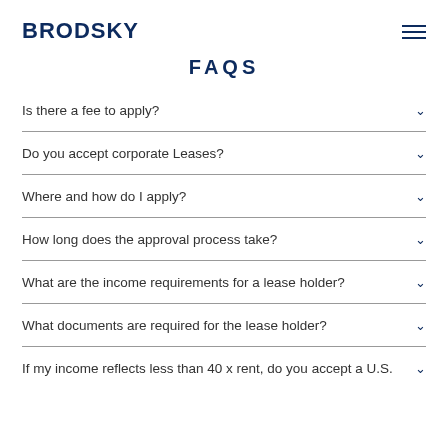BRODSKY
FAQS
Is there a fee to apply?
Do you accept corporate Leases?
Where and how do I apply?
How long does the approval process take?
What are the income requirements for a lease holder?
What documents are required for the lease holder?
If my income reflects less than 40 x rent, do you accept a U.S.